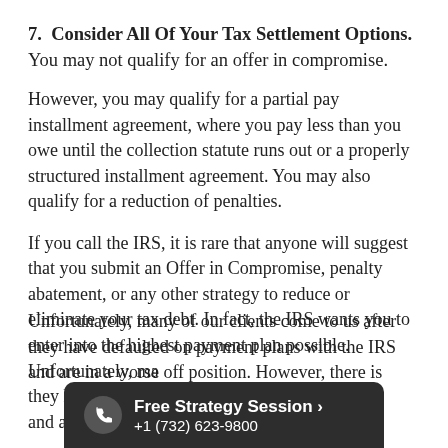7. Consider All Of Your Tax Settlement Options. You may not qualify for an offer in compromise.
However, you may qualify for a partial pay installment agreement, where you pay less than you owe until the collection statute runs out or a properly structured installment agreement. You may also qualify for a reduction of penalties.
If you call the IRS, it is rare that anyone will suggest that you submit an Offer in Compromise, penalty abatement, or any other strategy to reduce or eliminate your tax debt. In fact, the IRS wants you to enter into the highest payment plan possible. Unfortunately, many of our clients come to us after they have defaulted on payment plans with the IRS and are in a worse off position. However, there is
[Figure (infographic): Dark rounded banner at bottom: phone icon, 'Free Strategy Session ›' in bold white, '+1 (732) 623-9800' below in white]